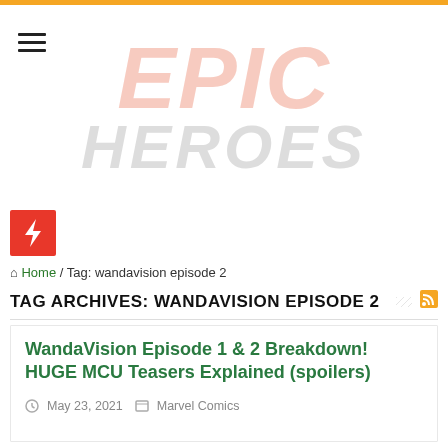[Figure (logo): Epic Heroes website logo — large italic text 'EPIC' in salmon/pink color and 'HEROES' in light gray below, overlapping, with a watermark-style appearance]
Home / Tag: wandavision episode 2
TAG ARCHIVES: WANDAVISION EPISODE 2
WandaVision Episode 1 & 2 Breakdown! HUGE MCU Teasers Explained (spoilers)
May 23, 2021   Marvel Comics